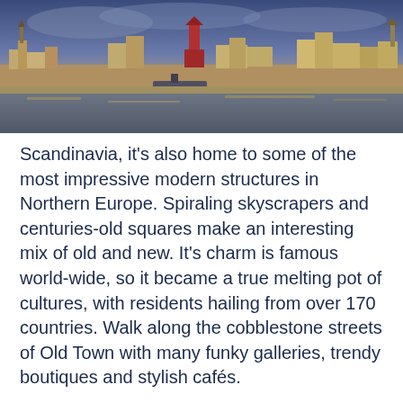[Figure (photo): Panoramic cityscape of Stockholm, Sweden at dusk with waterfront, historic buildings, church spires, and modern towers reflected in the water under a dramatic sky.]
Scandinavia, it's also home to some of the most impressive modern structures in Northern Europe. Spiraling skyscrapers and centuries-old squares make an interesting mix of old and new. It's charm is famous world-wide, so it became a true melting pot of cultures, with residents hailing from over 170 countries. Walk along the cobblestone streets of Old Town with many funky galleries, trendy boutiques and stylish cafés.
[Figure (photo): Partial view of a building or monument against a bright blue sky, partially cropped at the bottom of the page.]